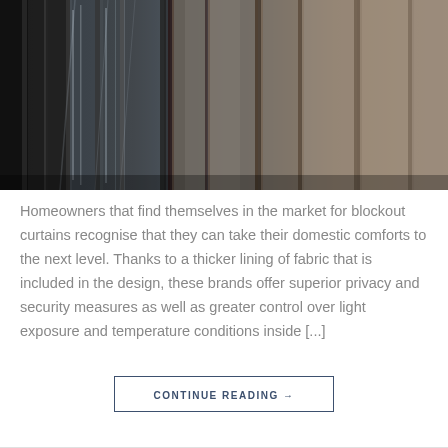[Figure (photo): Close-up photograph of hanging curtains/drapes, showing sheer and opaque fabrics in dark and warm tones with light filtering through]
Homeowners that find themselves in the market for blockout curtains recognise that they can take their domestic comforts to the next level. Thanks to a thicker lining of fabric that is included in the design, these brands offer superior privacy and security measures as well as greater control over light exposure and temperature conditions inside [...]
CONTINUE READING →